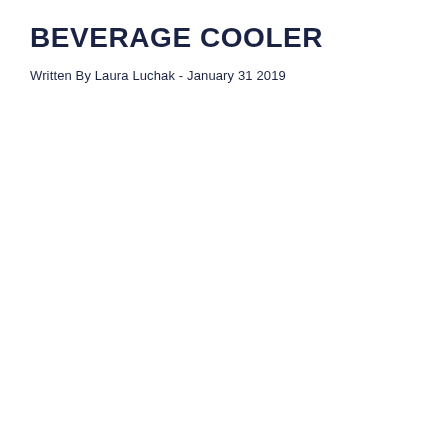BEVERAGE COOLER
Written By Laura Luchak - January 31 2019